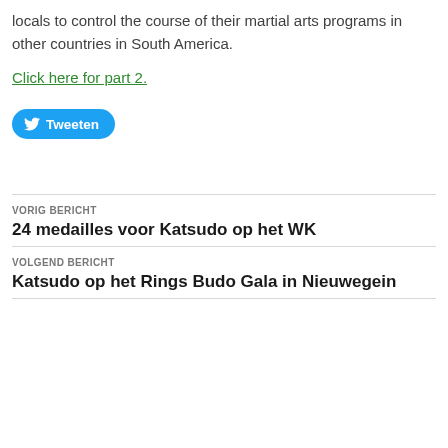locals to control the course of their martial arts programs in other countries in South America.
Click here for part 2.
[Figure (other): Twitter Tweet button with bird icon and text 'Tweeten']
VORIG BERICHT
24 medailles voor Katsudo op het WK
VOLGEND BERICHT
Katsudo op het Rings Budo Gala in Nieuwegein